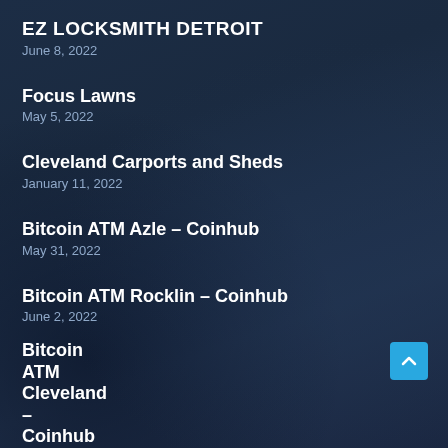EZ LOCKSMITH DETROIT
June 8, 2022
Focus Lawns
May 5, 2022
Cleveland Carports and Sheds
January 11, 2022
Bitcoin ATM Azle – Coinhub
May 31, 2022
Bitcoin ATM Rocklin – Coinhub
June 2, 2022
Bitcoin ATM Cleveland – Coinhub